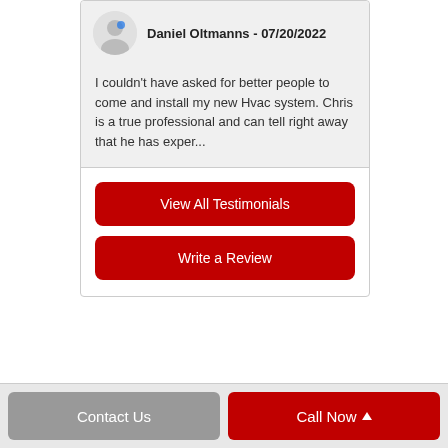Daniel Oltmanns - 07/20/2022
I couldn't have asked for better people to come and install my new Hvac system. Chris is a true professional and can tell right away that he has exper...
View All Testimonials
Write a Review
Contact Us
Call Now ▲